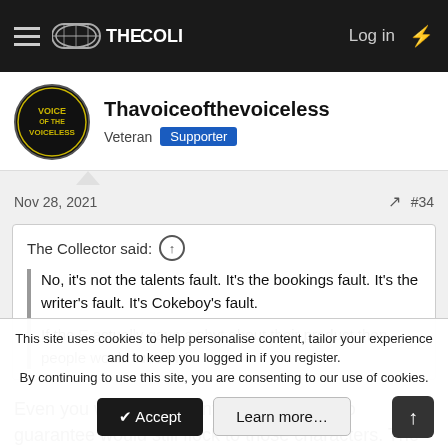THE COLI — Log in
Thavoiceofthevoiceless
Veteran  Supporter
Nov 28, 2021  #34
The Collector said:  No, it's not the talents fault. It's the bookings fault. It's the writer's fault. It's Cokeboy's fault.  If the E actually gave a shyt about their product then people would tune in.
Even you wrote the talent better, there's no guarantee would still flock to those characters. The people may look the part on the roster, but they just don't have the "it" factor and the writing isn't going to change that.
This site uses cookies to help personalise content, tailor your experience and to keep you logged in if you register.
By continuing to use this site, you are consenting to our use of cookies.